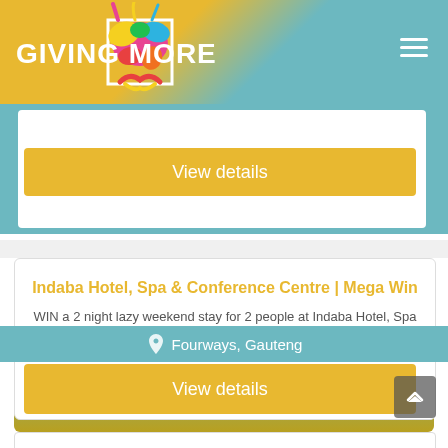GIVING MORE
View details
Indaba Hotel, Spa & Conference Centre | Mega Win
WIN a 2 night lazy weekend stay for 2 people at Indaba Hotel, Spa & Conference Centre valued at R13 200.00
Fourways, Gauteng
View details